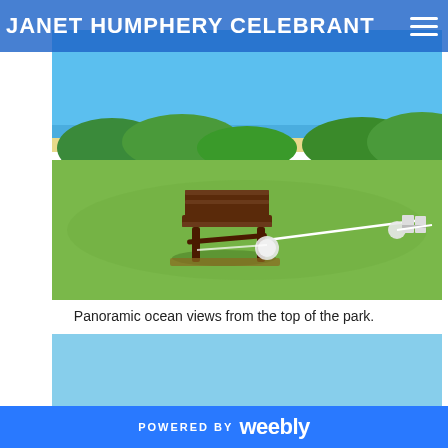JANET HUMPHERY CELEBRANT
[Figure (photo): Panoramic outdoor park scene with green lawn, a wooden bench in the center, decorative white rope/ribbon with white floral balls along it, chairs on the right, and ocean/beach with blue sky and green bushes in background — a wedding venue setup at the top of a coastal park.]
Panoramic ocean views from the top of the park.
[Figure (photo): Coastal panoramic view showing a light blue sky, ocean horizon, tall Norfolk pine trees on the right, and low buildings on the left — a seaside location view.]
POWERED BY weebly